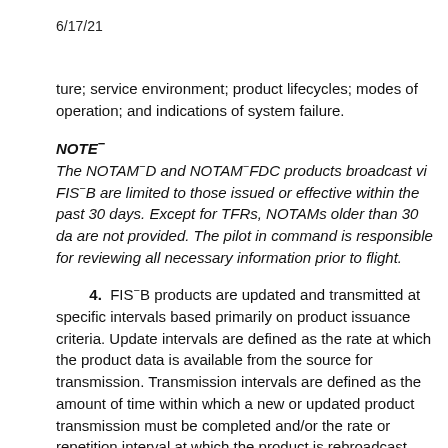6/17/21
ture; service environment; product lifecycles; modes of operation; and indications of system failure.
NOTE−
The NOTAM−D and NOTAM FDC products broadcast via FIS−B are limited to those issued or effective within the past 30 days. Except for TFRs, NOTAMs older than 30 days are not provided. The pilot in command is responsible for reviewing all necessary information prior to flight.
4.  FIS−B products are updated and transmitted at specific intervals based primarily on product issuance criteria. Update intervals are defined as the rate at which the product data is available from the source for transmission. Transmission intervals are defined as the amount of time within which a new or updated product transmission must be completed and/or the rate or repetition interval at which the product is rebroadcast. Update and transmission